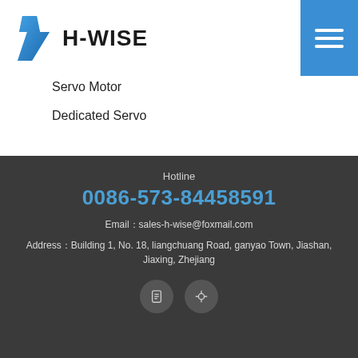[Figure (logo): H-WISE company logo with blue stylized H icon and bold H-WISE text]
Servo Motor
Dedicated Servo
Hotline
0086-573-84458591
Email：sales-h-wise@foxmail.com
Address：Building 1, No. 18, liangchuang Road, ganyao Town, Jiashan, Jiaxing, Zhejiang